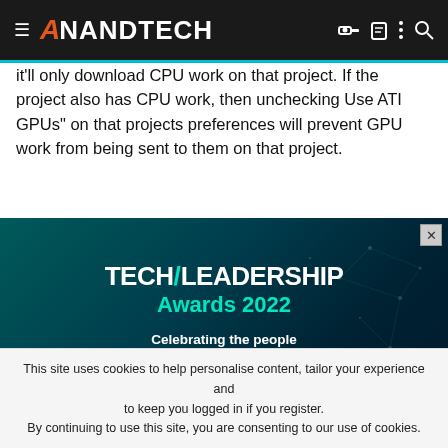AnandTech
it'll only download CPU work on that project. If the project also has CPU work, then unchecking Use ATI GPUs" on that projects preferences will prevent GPU work from being sent to them on that project.
[Figure (screenshot): Advertisement: Tech/Leadership Awards 2022. Celebrating the people and products shaping the future of media technology. Dark teal background with geometric network graphic.]
This site uses cookies to help personalise content, tailor your experience and to keep you logged in if you register.
By continuing to use this site, you are consenting to our use of cookies.